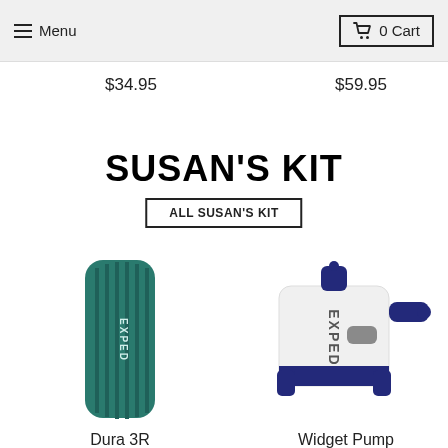Menu | 0 Cart
$34.95
$59.95
SUSAN'S KIT
ALL SUSAN'S KIT
[Figure (photo): Green Exped Dura 3R inflatable sleeping mat standing upright against white background]
[Figure (photo): White and navy Exped Widget Pump electric pump on white background]
Dura 3R
Widget Pump